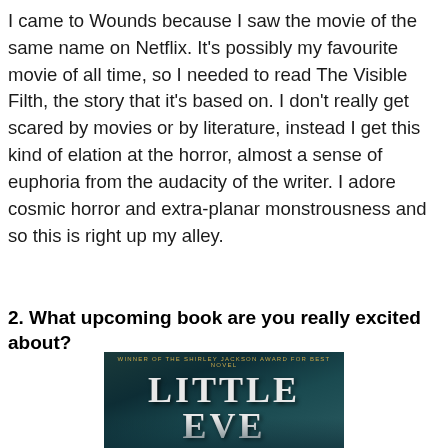I came to Wounds because I saw the movie of the same name on Netflix. It's possibly my favourite movie of all time, so I needed to read The Visible Filth, the story that it's based on. I don't really get scared by movies or by literature, instead I get this kind of elation at the horror, almost a sense of euphoria from the audacity of the writer. I adore cosmic horror and extra-planar monstrousness and so this is right up my alley.
2. What upcoming book are you really excited about?
[Figure (photo): Book cover of 'Little Eve' with text 'Winner of the Shirley Jackson Award for Best Novel' at the top, dark teal/ocean themed background with swirling imagery]